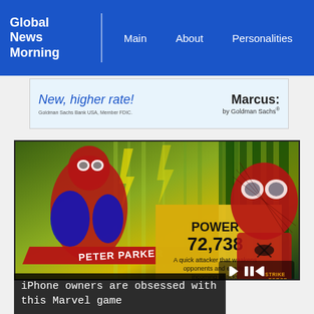Global News Morning | Main | About | Personalities
[Figure (screenshot): Advertisement banner: 'New, higher rate!' Marcus by Goldman Sachs. Goldman Sachs Bank USA, Member FDIC.]
[Figure (screenshot): Marvel Strike Force game promotional video thumbnail showing two Spider-Man characters (Peter Parker animated and live-action). Center shows 'POWER 72,738' and text 'A quick attacker that weakens opponents and evades incoming attacks'. Media controls visible at bottom right.]
iPhone owners are obsessed with this Marvel game